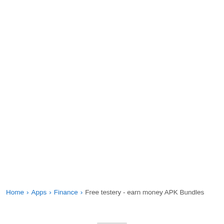Home › Apps › Finance › Free testery - earn money APK Bundles